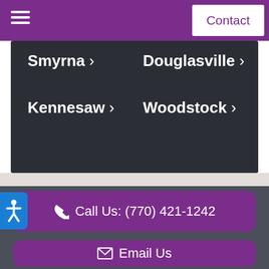Contact
Smyrna >
Douglasville >
Kennesaw >
Woodstock >
Call Us: (770) 421-1242
Email Us
Get Driving Directions
Request a Consultation